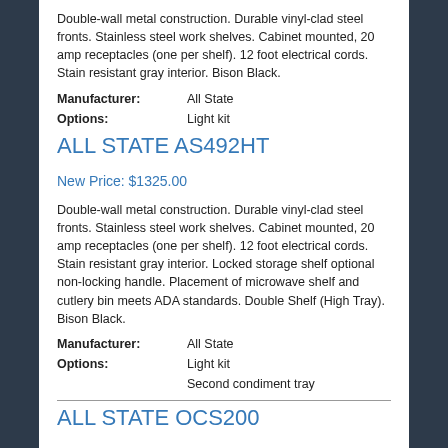Double-wall metal construction. Durable vinyl-clad steel fronts. Stainless steel work shelves. Cabinet mounted, 20 amp receptacles (one per shelf). 12 foot electrical cords. Stain resistant gray interior. Bison Black.
Manufacturer: All State
Options: Light kit
ALL STATE AS492HT
New Price: $1325.00
Double-wall metal construction. Durable vinyl-clad steel fronts. Stainless steel work shelves. Cabinet mounted, 20 amp receptacles (one per shelf). 12 foot electrical cords. Stain resistant gray interior. Locked storage shelf optional non-locking handle. Placement of microwave shelf and cutlery bin meets ADA standards. Double Shelf (High Tray). Bison Black.
Manufacturer: All State
Options: Light kit
Second condiment tray
ALL STATE OCS200